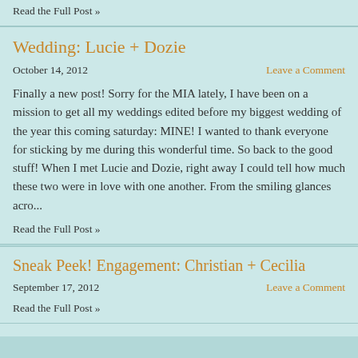Read the Full Post »
Wedding: Lucie + Dozie
October 14, 2012
Leave a Comment
Finally a new post! Sorry for the MIA lately, I have been on a mission to get all my weddings edited before my biggest wedding of the year this coming saturday: MINE! I wanted to thank everyone for sticking by me during this wonderful time. So back to the good stuff! When I met Lucie and Dozie, right away I could tell how much these two were in love with one another. From the smiling glances acro...
Read the Full Post »
Sneak Peek! Engagement: Christian + Cecilia
September 17, 2012
Leave a Comment
Read the Full Post »